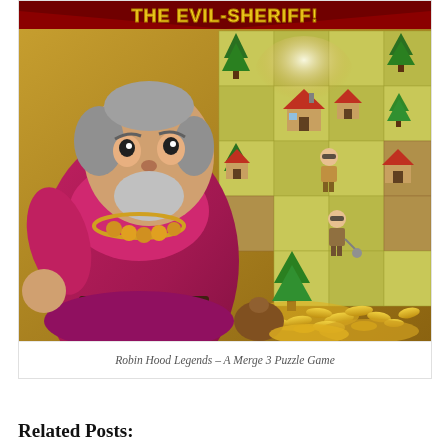[Figure (screenshot): Screenshot of Robin Hood Legends – A Merge 3 Puzzle Game, showing a villain character (the evil sheriff) in the foreground with a red outfit and gold necklace, standing in front of a game grid with green trees, small houses, and tiny character sprites on a tan/gold tiled board. Gold coins are scattered at the bottom. A banner at top reads 'THE EVIL-SHERIFF!']
Robin Hood Legends – A Merge 3 Puzzle Game
Related Posts: